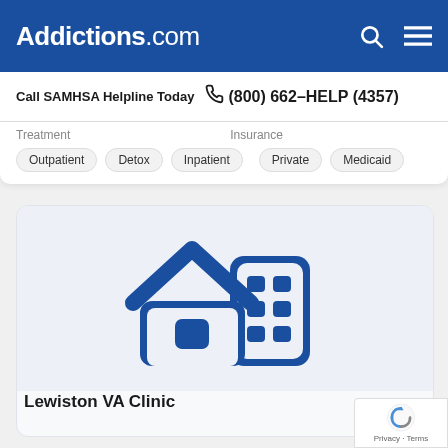Addictions.com
Call SAMHSA Helpline Today  (800) 662-HELP (4357)
Treatment  |  Insurance
Outpatient  Detox  Inpatient  |  Private  Medicaid
[Figure (illustration): Icon showing a house and a building/clinic, in dark blue on light background, representing a treatment facility]
Lewiston VA Clinic